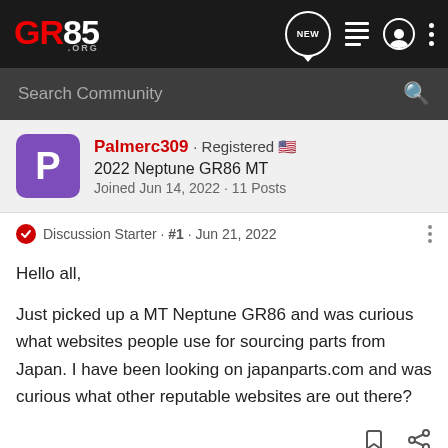GR86.ORG — NEW navigation icons
Search Community
Palmerc309 · Registered 🇺🇸
2022 Neptune GR86 MT
Joined Jun 14, 2022 · 11 Posts
Discussion Starter · #1 · Jun 21, 2022
Hello all,

Just picked up a MT Neptune GR86 and was curious what websites people use for sourcing parts from Japan. I have been looking on japanparts.com and was curious what other reputable websites are out there?